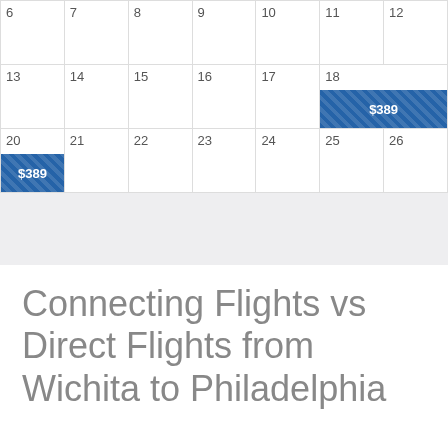| 6 | 7 | 8 | 9 | 10 | 11 | 12 |
| --- | --- | --- | --- | --- | --- | --- |
| 13 | 14 | 15 | 16 | 17 | 18 $389 | 19 |
| 20 $389 | 21 | 22 | 23 | 24 | 25 | 26 |
Connecting Flights vs Direct Flights from Wichita to Philadelphia